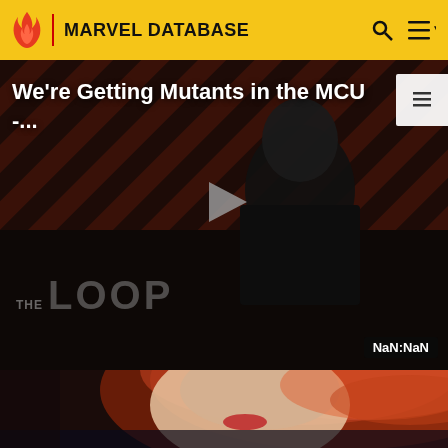MARVEL DATABASE
[Figure (screenshot): Marvel Database website header with flame logo, site title, search and menu icons on yellow background]
We're Getting Mutants in the MCU - ...
[Figure (screenshot): Video player showing The Loop branded video with a bald man in dark suit, play button overlay, and NaN:NaN timer. Diagonal red/dark striped background.]
[Figure (illustration): Comic art illustration of a woman with long red/auburn hair, close-up of her face from the nose down, wearing a dark costume]